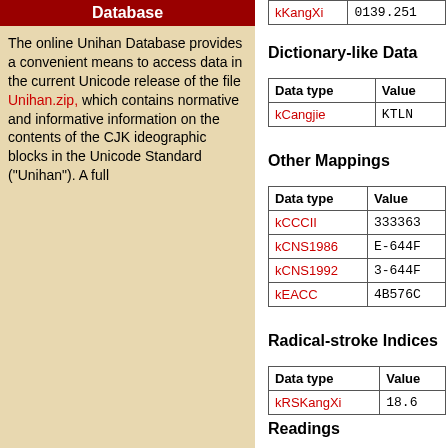Database
The online Unihan Database provides a convenient means to access data in the current Unicode release of the file Unihan.zip, which contains normative and informative information on the contents of the CJK ideographic blocks in the Unicode Standard ("Unihan"). A full
| Data type | Value |
| --- | --- |
| kKangXi | 0139.251 |
Dictionary-like Data
| Data type | Value |
| --- | --- |
| kCangjie | KTLN |
Other Mappings
| Data type | Value |
| --- | --- |
| kCCCII | 333363 |
| kCNS1986 | E-644F |
| kCNS1992 | 3-644F |
| kEACC | 4B576C |
Radical-stroke Indices
| Data type | Value |
| --- | --- |
| kRSKangXi | 18.6 |
Readings